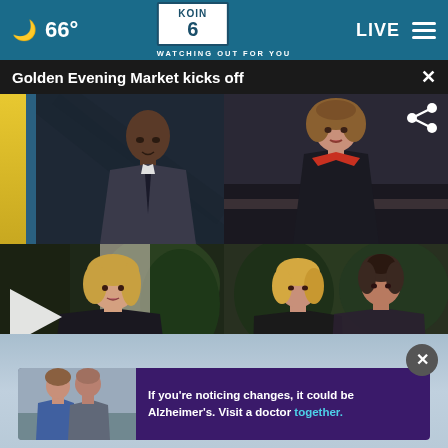🌙 66° | KOIN 6 CBS — WATCHING OUT FOR YOU | LIVE
Golden Evening Market kicks off
[Figure (screenshot): Four-panel video grid showing news broadcast thumbnails: top-left male anchor in suit with yellow/blue studio stripe, top-right female reporter, bottom-left woman with play button overlay, bottom-right two women. Share icon top-right of grid.]
[Figure (photo): Advertisement banner: two people standing outdoors (man in blue, older man), with text 'If you're noticing changes, it could be Alzheimer's. Visit a doctor together.' Purple background with teal link text.]